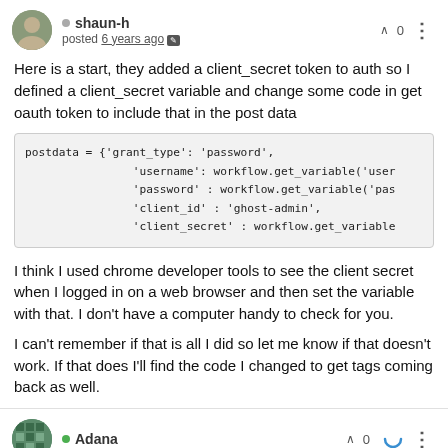shaun-h posted 6 years ago
Here is a start, they added a client_secret token to auth so I defined a client_secret variable and change some code in get oauth token to include that in the post data
[Figure (screenshot): Code block showing postdata dictionary with grant_type, username, password, client_id, client_secret fields]
I think I used chrome developer tools to see the client secret when I logged in on a web browser and then set the variable with that. I don't have a computer handy to check for you.
I can't remember if that is all I did so let me know if that doesn't work. If that does I'll find the code I changed to get tags coming back as well.
Adana — vote 0